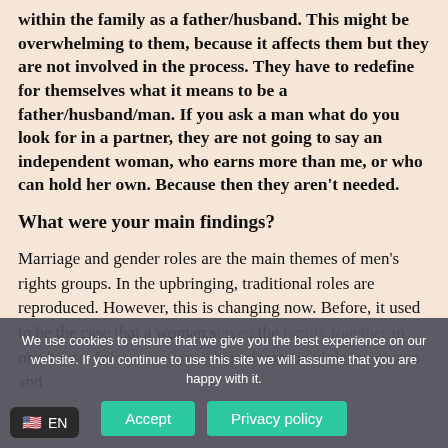within the family as a father/husband. This might be overwhelming to them, because it affects them but they are not involved in the process. They have to redefine for themselves what it means to be a father/husband/man. If you ask a man what do you look for in a partner, they are not going to say an independent woman, who earns more than me, or who can hold her own. Because then they aren't needed.
What were your main findings?
Marriage and gender roles are the main themes of men's rights groups. In the upbringing, traditional roles are reproduced. However, this is changing now. Before, it used to be the case that a woman s[tayed] the [family together] in one house. In [a situation] where domestic violence occurs and
We use cookies to ensure that we give you the best experience on our website. If you continue to use this site we will assume that you are happy with it.